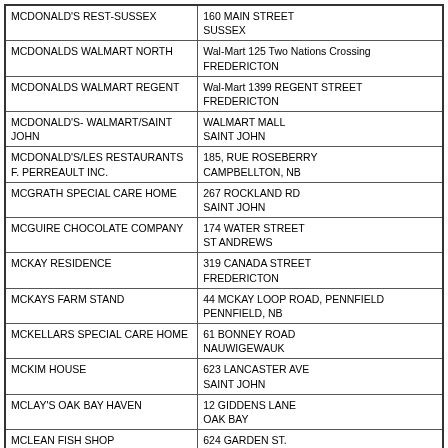| Name | Address |
| --- | --- |
| MCDONALD'S REST-SUSSEX | 160 MAIN STREET
SUSSEX |
| MCDONALDS WALMART NORTH | Wal-Mart 125 Two Nations Crossing
FREDERICTON |
| MCDONALDS WALMART REGENT | Wal-Mart 1399 REGENT STREET
FREDERICTON |
| MCDONALD'S- WALMART/SAINT JOHN | WALMART MALL
SAINT JOHN |
| MCDONALD'S/LES RESTAURANTS F. PERREAULT INC. | 185, RUE ROSEBERRY
CAMPBELLTON, NB |
| MCGRATH SPECIAL CARE HOME | 267 ROCKLAND RD
SAINT JOHN |
| MCGUIRE CHOCOLATE COMPANY | 174 WATER STREET
ST ANDREWS |
| MCKAY RESIDENCE | 319 CANADA STREET
FREDERICTON |
| MCKAYS FARM STAND | 44 MCKAY LOOP ROAD, PENNFIELD
PENNFIELD, NB |
| MCKELLARS SPECIAL CARE HOME | 61 BONNEY ROAD
NAUWIGEWAUK |
| MCKIM HOUSE | 623 LANCASTER AVE
SAINT JOHN |
| MCLAY'S OAK BAY HAVEN | 12 GIDDENS LANE
OAK BAY |
| MCLEAN FISH SHOP | 624 GARDEN ST.
BATHURST, NB |
| MCLEOD HOUSE CAFETERIA | UNIVERSITY OF NEW BRUNSWICK
FREDERICTON |
| MCNAIR MANOR | 137 WHITE PINE RD
RIVERVIEW |
| MCNAIR MANOR | 11 BEECHWOOD AVE
MONCTON |